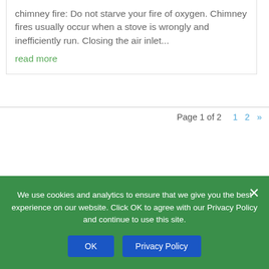chimney fire: Do not starve your fire of oxygen. Chimney fires usually occur when a stove is wrongly and inefficiently run. Closing the air inlet...
read more
Page 1 of 2  1  2  »
We use cookies and analytics to ensure that we give you the best experience on our website. Click OK to agree with our Privacy Policy and continue to use this site.